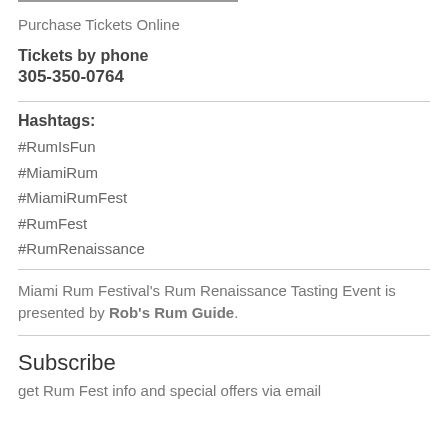Purchase Tickets Online
Tickets by phone
305-350-0764
Hashtags:
#RumIsFun
#MiamiRum
#MiamiRumFest
#RumFest
#RumRenaissance
Miami Rum Festival's Rum Renaissance Tasting Event is presented by Rob's Rum Guide.
Subscribe
get Rum Fest info and special offers via email